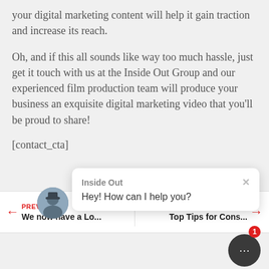your digital marketing content will help it gain traction and increase its reach.
Oh, and if this all sounds like way too much hassle, just get it touch with us at the Inside Out Group and our experienced film production team will produce your business an exquisite digital marketing video that you'll be proud to share!
[contact_cta]
[Figure (screenshot): Chat popup widget showing 'Inside Out' header with close button and message 'Hey! How can I help you?', with an avatar on the left side]
PREVIOUS
We now have a Lo...
NEXT
Top Tips for Cons...